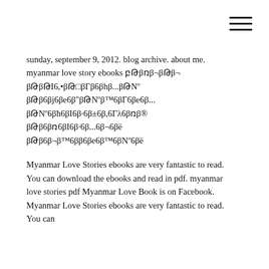[Figure (other): Hamburger menu icon (three horizontal lines) in top-right corner]
sunday, september 9, 2012. blog archive. about me. myanmar love story ebooks բԹβռβ¬βԹβ¬ βԹβԹI6,•βԹ□βΓβ6βhβ...βԹNº βԹβ6βj6βe6β"βԹNºβ™6βΓ6βe6β... βԹNº6βħ6βI6β·6β±6β,6Γλ6βռβ® βԹβ6βռ6βI6β·6β...6β¬6βë βԹβ6β¬β™6ββ6βe6β™6βNº6βë
Myanmar Love Stories ebooks are very fantastic to read. You can download the ebooks and read in pdf. myanmar love stories pdf Myanmar Love Book is on Facebook. Myanmar Love Stories ebooks are very fantastic to read. You can